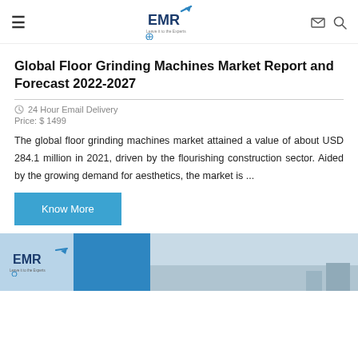EMR - Expert Market Research logo, navigation menu icon, email icon, search icon
Global Floor Grinding Machines Market Report and Forecast 2022-2027
24 Hour Email Delivery
Price: $ 1499
The global floor grinding machines market attained a value of about USD 284.1 million in 2021, driven by the flourishing construction sector. Aided by the growing demand for aesthetics, the market is ...
[Figure (screenshot): EMR logo banner image at the bottom of the page showing the Expert Market Research branding with blue color scheme and a building/architecture image on the right side]